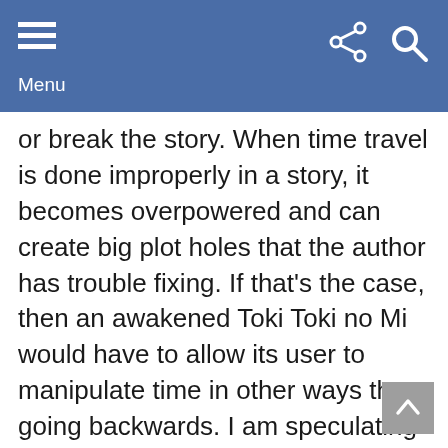Menu
or break the story. When time travel is done improperly in a story, it becomes overpowered and can create big plot holes that the author has trouble fixing. If that’s the case, then an awakened Toki Toki no Mi would have to allow its user to manipulate time in other ways than going backwards. I am speculating here but I would think that the ability to stop time or to slow it down/speed it up for oneself does fit the criteria. So who is the best candidate to possess this power? I believe it to be Shanks!